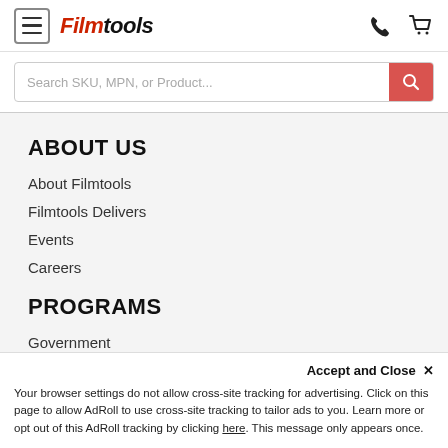Filmtools — navigation header with hamburger menu, logo, phone icon, cart icon
Search SKU, MPN, or Product...
ABOUT US
About Filmtools
Filmtools Delivers
Events
Careers
PROGRAMS
Government
B2B
Accept and Close ✕
Your browser settings do not allow cross-site tracking for advertising. Click on this page to allow AdRoll to use cross-site tracking to tailor ads to you. Learn more or opt out of this AdRoll tracking by clicking here. This message only appears once.